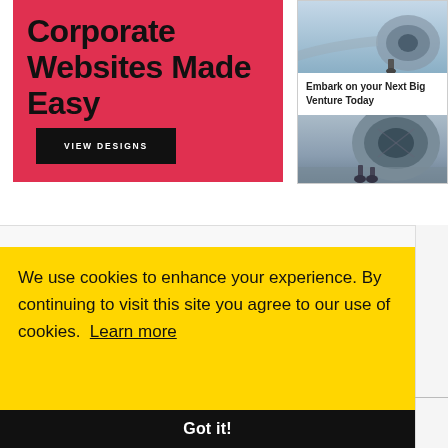Corporate Websites Made Easy
VIEW DESIGNS
[Figure (screenshot): Advertisement card showing airplane engine photo with text 'Embark on your Next Big Venture Today' and a Newsletter Sign Up button]
We use cookies to enhance your experience. By continuing to visit this site you agree to our use of cookies. Learn more
Got it!